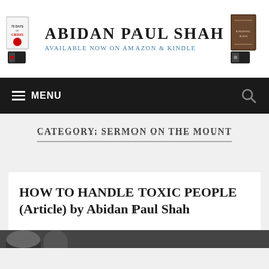[Figure (logo): Abidan Paul Shah website header banner with book covers on left and right, site name in large serif font, and tagline 'Available now on Amazon & Kindle' in blue]
≡ MENU
CATEGORY: SERMON ON THE MOUNT
HOW TO HANDLE TOXIC PEOPLE (Article) by Abidan Paul Shah